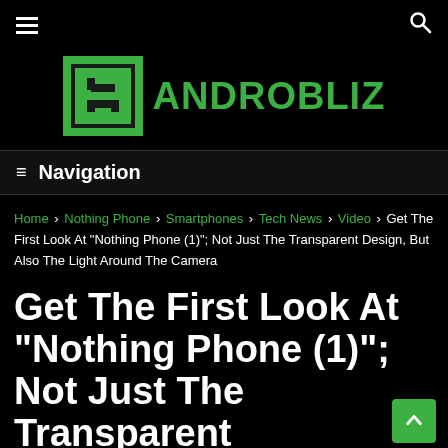≡  🔍
[Figure (logo): Androbliz logo: green square icon with 'AB' stylized letters, followed by green text 'ANDROBLIZ']
≡ Navigation
Home › Nothing Phone › Smartphones › Tech News › Video › Get The First Look At "Nothing Phone (1)"; Not Just The Transparent Design, But Also The Light Around The Camera
Get The First Look At "Nothing Phone (1)"; Not Just The Transparent